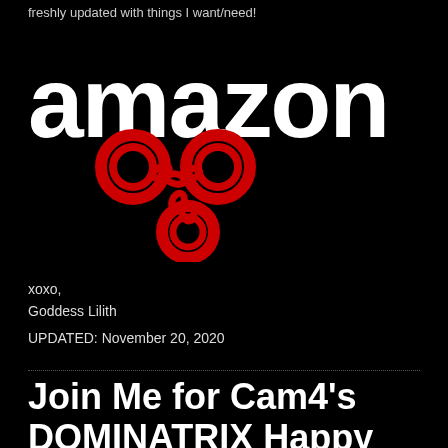freshly updated with things I want/need!
[Figure (logo): Amazon logo in white bold text with red handcuffs graphic overlaid]
xoxo,
Goddess Lilith
UPDATED: November 20, 2020
Join Me for Cam4's DOMINATRIX Happy Hour